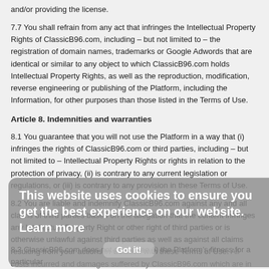and/or providing the license.
7.7 You shall refrain from any act that infringes the Intellectual Property Rights of ClassicB96.com, including – but not limited to – the registration of domain names, trademarks or Google Adwords that are identical or similar to any object to which ClassicB96.com holds Intellectual Property Rights, as well as the reproduction, modification, reverse engineering or publishing of the Platform, including the Information, for other purposes than those listed in the Terms of Use.
Article 8. Indemnities and warranties
8.1 You guarantee that you will not use the Platform in a way that (i) infringes the rights of ClassicB96.com or third parties, including – but not limited to – Intellectual Property Rights or rights in relation to the protection of privacy, (ii) is contrary to any current legislation or regulations, or (iii) is contrary to any provision in these Terms of Use.
8.2 You are liable and indemnify ClassicB96.com against any and all claims of third parties based on the allegation that the content infringes any Intellectual Property Right or other right of third parties or is otherwise unlawful against third parties as well as against all claims resulting from your actions in violation with these Terms of Use. All costs incurred and damages suffered by ClassicB96.com which are in any way related to the abovementioned claims will be remunerated by you.
8.3 ClassicB96.com does not guarantee (i) the Platform's fitness for a particular